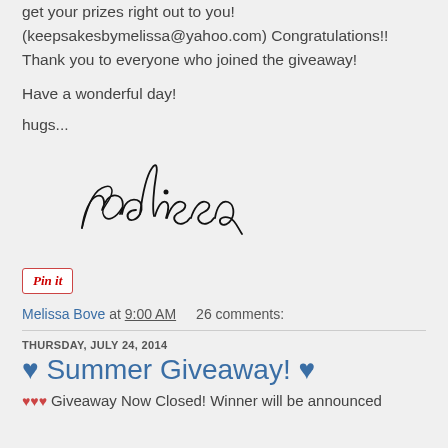get your prizes right out to you! (keepsakesbymelissa@yahoo.com) Congratulations!! Thank you to everyone who joined the giveaway!
Have a wonderful day!
hugs...
[Figure (illustration): Cursive handwritten signature reading 'melissa']
[Figure (other): Pin it button with red border and italic red text]
Melissa Bove at 9:00 AM   26 comments:
THURSDAY, JULY 24, 2014
♥ Summer Giveaway! ♥
♥♥♥ Giveaway Now Closed! Winner will be announced